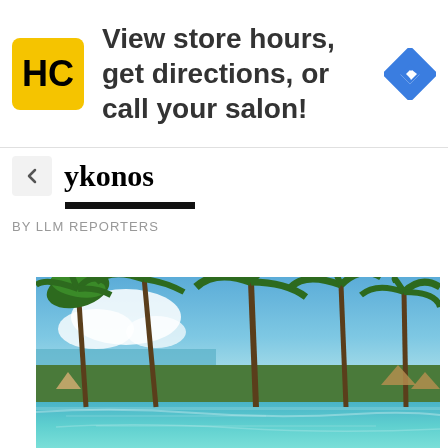[Figure (screenshot): Advertisement banner: HC logo in yellow square, text 'View store hours, get directions, or call your salon!', blue navigation diamond icon on right]
ykonos
BY LLM REPORTERS
[Figure (photo): Tropical resort infinity pool scene with tall palm trees, blue sky with clouds, ocean view in background, pool reflecting trees and sky]